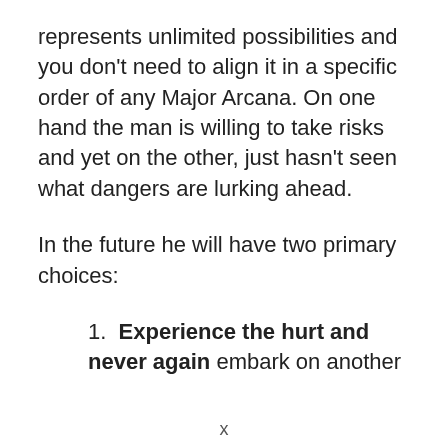represents unlimited possibilities and you don't need to align it in a specific order of any Major Arcana. On one hand the man is willing to take risks and yet on the other, just hasn't seen what dangers are lurking ahead.
In the future he will have two primary choices:
Experience the hurt and never again embark on another